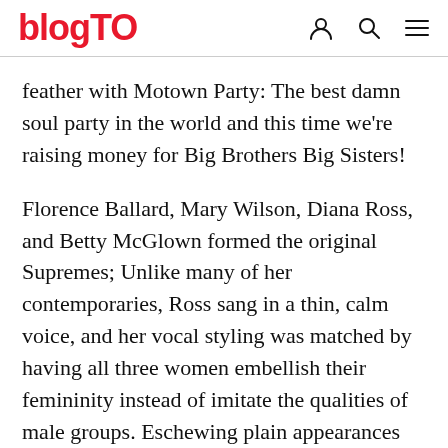blogTO
feather with Motown Party: The best damn soul party in the world and this time we're raising money for Big Brothers Big Sisters!
Florence Ballard, Mary Wilson, Diana Ross, and Betty McGlown formed the original Supremes; Unlike many of her contemporaries, Ross sang in a thin, calm voice, and her vocal styling was matched by having all three women embellish their femininity instead of imitate the qualities of male groups. Eschewing plain appearances and basic dance routines, the Supremes appeared onstage in detailed make-up and high-fashion gowns and wigs, and performed graceful choreography. With hits like "Baby love", "Where did our love go", "You Can't Hurry Love"